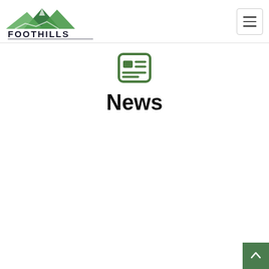[Figure (logo): Foothills Financial Planning logo with green mountain graphic and text 'FOOTHILLS FINANCIAL PLANNING']
[Figure (illustration): Hamburger menu button (three horizontal lines) in a rounded rectangle border]
[Figure (illustration): News icon: green rounded rectangle with horizontal lines resembling a newspaper]
News
[Figure (illustration): Green back-to-top button with upward-pointing chevron arrow in bottom-right corner]